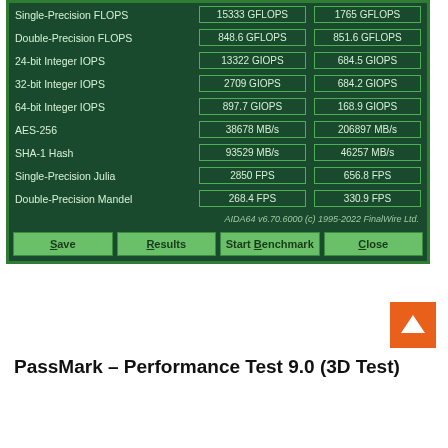[Figure (screenshot): AIDA64 benchmark results screenshot showing a dark green table with performance metrics including Single-Precision FLOPS, Double-Precision FLOPS, Integer IOPS, AES-256, SHA-1 Hash, Julia and Mandelbrot FPS values for two configurations, with Save/Results/Start Benchmark/Close buttons at bottom.]
PassMark – Performance Test 9.0 (3D Test)